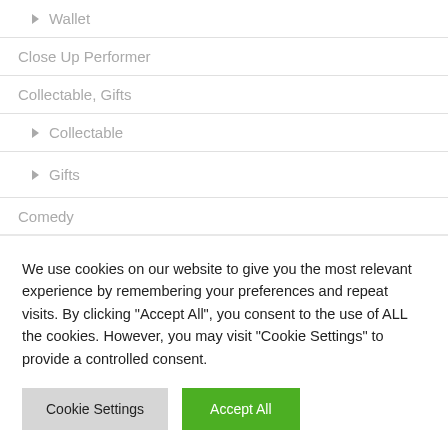▶ Wallet
Close Up Performer
Collectable, Gifts
▶ Collectable
▶ Gifts
Comedy
Comedy Performer
We use cookies on our website to give you the most relevant experience by remembering your preferences and repeat visits. By clicking "Accept All", you consent to the use of ALL the cookies. However, you may visit "Cookie Settings" to provide a controlled consent.